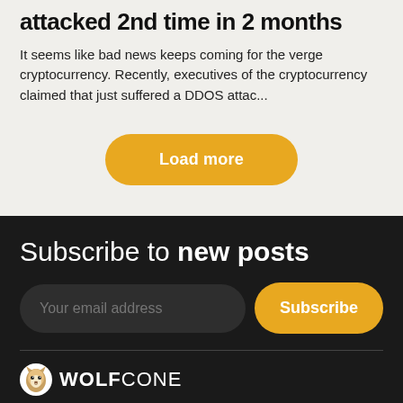attacked 2nd time in 2 months
It seems like bad news keeps coming for the verge cryptocurrency. Recently, executives of the cryptocurrency claimed that just suffered a DDOS attac...
[Figure (other): Load more button - rounded orange/yellow button with white text]
Subscribe to new posts
[Figure (other): Email subscription form with input field and Subscribe button]
[Figure (logo): WOLFCONE logo with wolf icon]